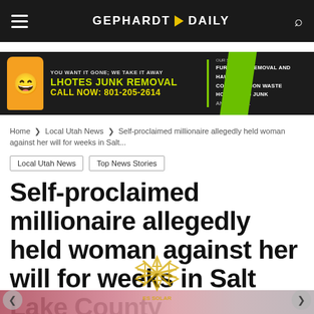GEPHARDT DAILY
[Figure (other): Advertisement banner for Lhotes Junk Removal: YOU WANT IT GONE; WE TAKE IT AWAY - LHOTES JUNK REMOVAL - CALL NOW: 801-205-2614. OUR SERVICES: FURNITURE REMOVAL AND HAULING, CONSTRUCTION WASTE, HOUSEHOLD JUNK, AND MORE...]
Home > Local Utah News > Self-proclaimed millionaire allegedly held woman against her will for weeks in Salt...
Local Utah News
Top News Stories
Self-proclaimed millionaire allegedly held woman against her will for weeks in Salt Lake County
By Gephardt Daily Staff - December 20, 2021